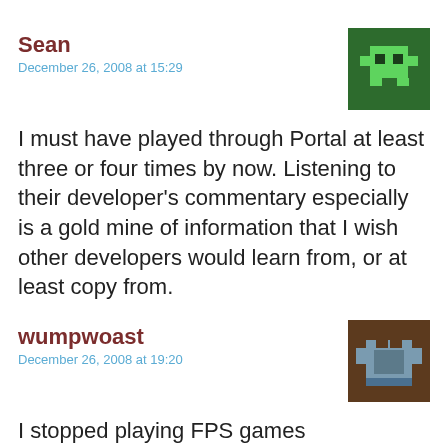Sean
December 26, 2008 at 15:29
[Figure (illustration): Pixel art avatar: green background with a small green pixel character (looks like a monster/ghost) on dark green square]
I must have played through Portal at least three or four times by now. Listening to their developer’s commentary especially is a gold mine of information that I wish other developers would learn from, or at least copy from.
wumpwoast
December 26, 2008 at 19:20
[Figure (illustration): Pixel art avatar: brown background with a grey/blue pixel chest or robot figure]
I stopped playing FPS games